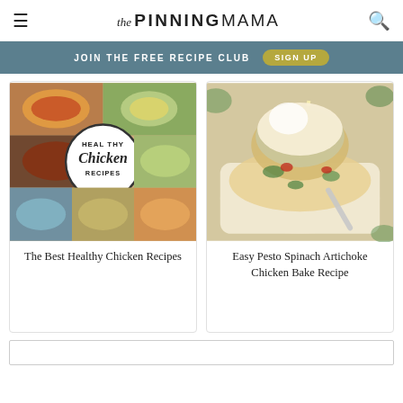The Pinning Mama
JOIN THE FREE RECIPE CLUB  SIGN UP
[Figure (photo): Collage of healthy chicken recipes with text 'Healthy Chicken Recipes' in center circle]
The Best Healthy Chicken Recipes
[Figure (photo): Photo of Easy Pesto Spinach Artichoke Chicken Bake with melted cheese being lifted]
Easy Pesto Spinach Artichoke Chicken Bake Recipe